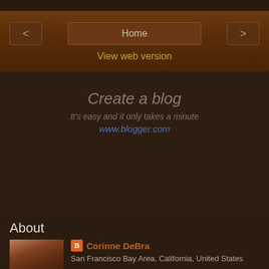Home
View web version
Create a blog
It's easy and it only takes a minute
www.blogger.com
About
Corinne DeBra
San Francisco Bay Area, California, United States